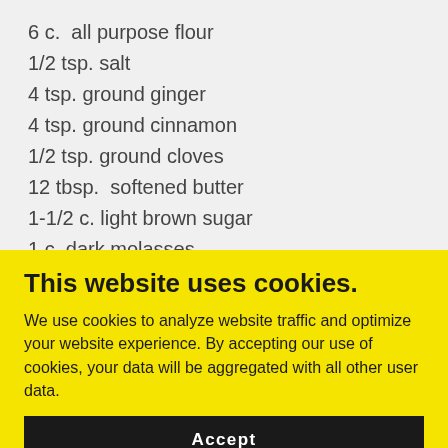6 c.  all purpose flour
1/2 tsp. salt
4 tsp. ground ginger
4 tsp. ground cinnamon
1/2 tsp. ground cloves
12 tbsp.  softened butter
1-1/2 c. light brown sugar
1 c. dark molasses
1 tbsp. water
This website uses cookies.
We use cookies to analyze website traffic and optimize your website experience. By accepting our use of cookies, your data will be aggregated with all other user data.
Accept